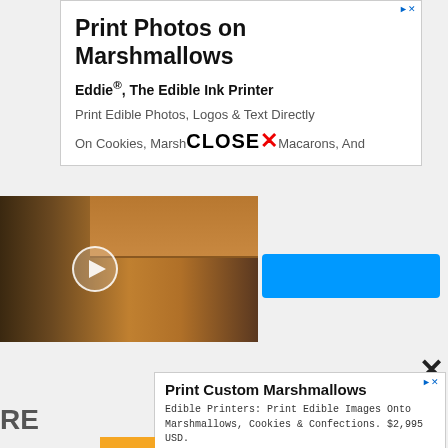[Figure (screenshot): Advertisement: Print Photos on Marshmallows – Eddie®, The Edible Ink Printer. Text: Print Edible Photos, Logos & Text Directly On Cookies, Marshmallows, Macarons, And more. With a video thumbnail showing a man in a kitchen with a play button overlay, and a blue button. A CLOSE X overlay is shown.]
[Figure (screenshot): Bottom advertisement: Print Custom Marshmallows. Edible Printers: Print Edible Images Onto Marshmallows, Cookies & Confections. $2,995 USD. primera.com. OPEN button.]
RE